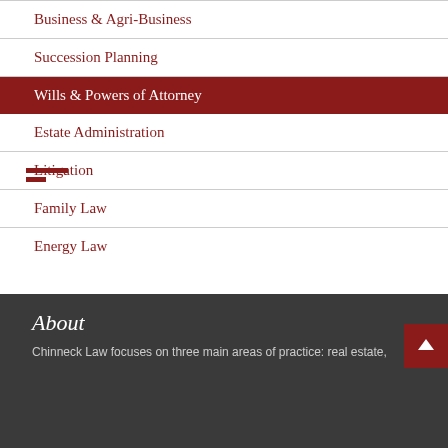Business & Agri-Business
Succession Planning
Wills & Powers of Attorney
Estate Administration
Litigation
Family Law
Energy Law
About
Chinneck Law focuses on three main areas of practice: real estate,